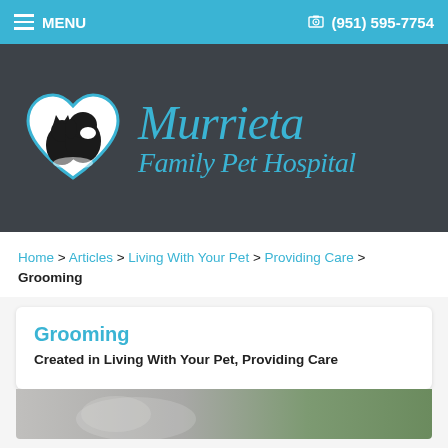MENU   (951) 595-7754
[Figure (logo): Murrieta Family Pet Hospital logo with heart-shaped icon containing silhouettes of a dog and cat, and stylized italic text reading 'Murrieta Family Pet Hospital' in blue on dark background]
Home > Articles > Living With Your Pet > Providing Care > Grooming
Grooming
Created in Living With Your Pet, Providing Care
[Figure (photo): Partial photo at bottom of page showing a light-colored pet being groomed, with greenery visible in background]